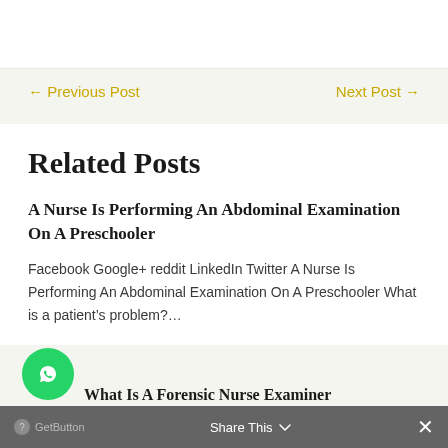← Previous Post   Next Post →
Related Posts
A Nurse Is Performing An Abdominal Examination On A Preschooler
Facebook Google+ reddit LinkedIn Twitter A Nurse Is Performing An Abdominal Examination On A Preschooler What is a patient's problem?...
What Is A Forensic Nurse Examiner
Share This